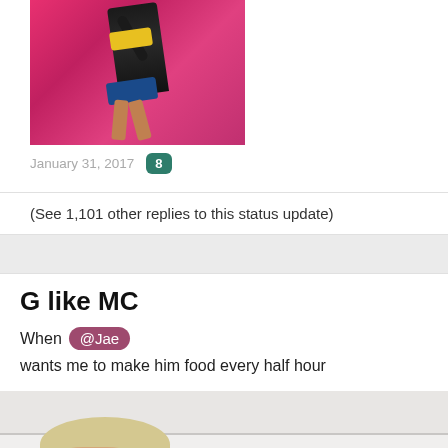[Figure (photo): Person dancing in colorful bikini against pink background]
January 31, 2017  8
(See 1,101 other replies to this status update)
G like MC
When @Jae wants me to make him food every half hour
[Figure (photo): Person in kitchen with holiday decorations on cabinet, menu button overlay in bottom right]